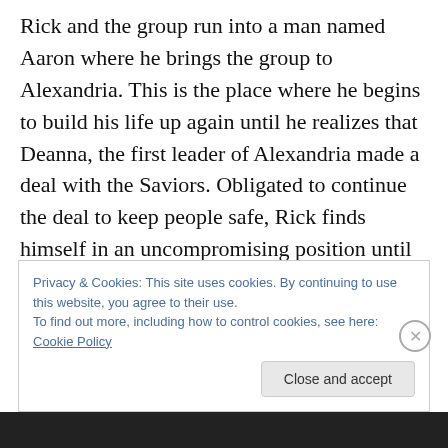Rick and the group run into a man named Aaron where he brings the group to Alexandria. This is the place where he begins to build his life up again until he realizes that Deanna, the first leader of Alexandria made a deal with the Saviors. Obligated to continue the deal to keep people safe, Rick finds himself in an uncompromising position until he discovers his spark to fight back again. Death is on the rise among some of Rick's closest friends. He is later faced with another brush with death as Carl is killed and comes to grips that the war against Negan and the saviors are the only way to survive the world. The war is
Privacy & Cookies: This site uses cookies. By continuing to use this website, you agree to their use.
To find out more, including how to control cookies, see here: Cookie Policy